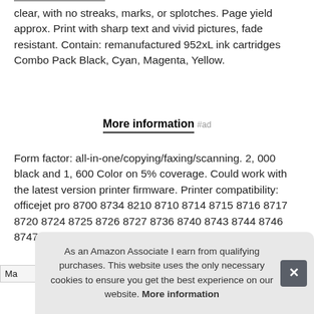clear, with no streaks, marks, or splotches. Page yield approx. Print with sharp text and vivid pictures, fade resistant. Contain: remanufactured 952xL ink cartridges Combo Pack Black, Cyan, Magenta, Yellow.
More information #ad
Form factor: all-in-one/copying/faxing/scanning. 2, 000 black and 1, 600 Color on 5% coverage. Could work with the latest version printer firmware. Printer compatibility: officejet pro 8700 8734 8210 8710 8714 8715 8716 8717 8720 8724 8725 8726 8727 8736 8740 8743 8744 8746 8747.
As an Amazon Associate I earn from qualifying purchases. This website uses the only necessary cookies to ensure you get the best experience on our website. More information